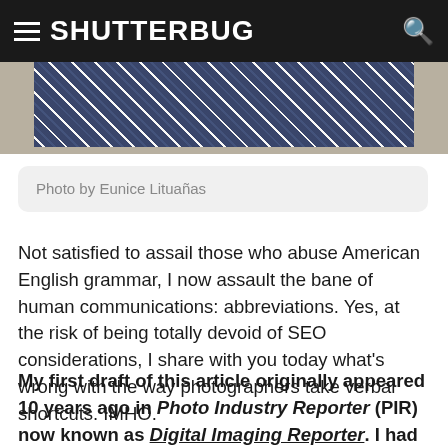SHUTTERBUG
[Figure (photo): Partial photo of a person wearing a dark blue patterned fabric/shirt]
Photo by Eunice Lituañas
Not satisfied to assail those who abuse American English grammar, I now assault the bane of human communications: abbreviations. Yes, at the risk of being totally devoid of SEO considerations, I share with you today what's wrong with the way photographers take verbal shortcuts. IMHO.
My first draft of this article originally appeared 10 years ago in Photo Industry Reporter (PIR) now known as Digital Imaging Reporter. I had to edit a